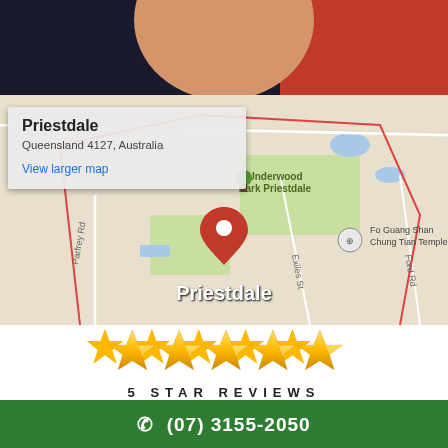[Figure (photo): Top portion showing person in red/dark clothing, cropped photo strip]
[Figure (map): Google Maps screenshot showing Priestdale area in Queensland, Australia with popup showing 'Priestdale, Queensland 4127, Australia' and 'View larger map' link. Map shows Underwood Park Priestdale, Fo Guang Shan Chung Tian Temple, Parfrey Rd, Exiles St, Ford Rd locations.]
Priestdale
Queensland 4127, Australia
View larger map
Priestdale
[Figure (illustration): Five golden star icons representing 5-star rating]
5 STAR REVIEWS
(07) 3155-2050